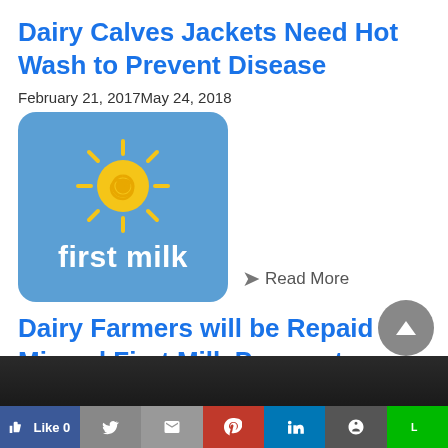Dairy Calves Jackets Need Hot Wash to Prevent Disease
February 21, 2017May 24, 2018
[Figure (logo): First Milk logo: blue rounded rectangle with yellow sun icon and 'first milk' text in white]
Read More
Dairy Farmers will be Repaid for Missed First Milk Payments
February 6, 2017March 13, 2018
[Figure (photo): Dark image partially visible at bottom]
Like 0 | Twitter | Email | Pinterest | LinkedIn | WhatsApp | Line